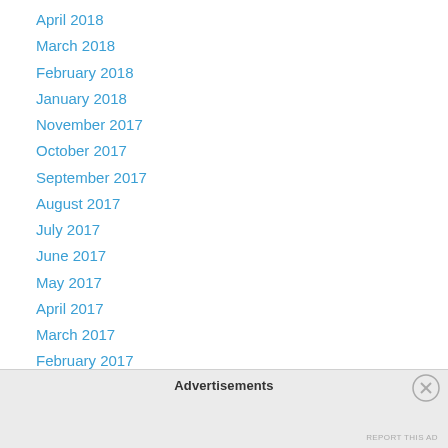April 2018
March 2018
February 2018
January 2018
November 2017
October 2017
September 2017
August 2017
July 2017
June 2017
May 2017
April 2017
March 2017
February 2017
January 2017
December 2016
Advertisements